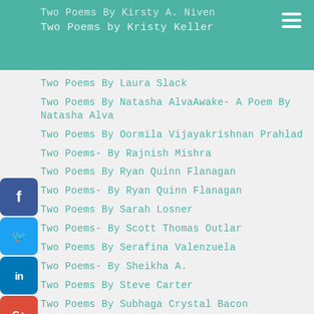Two Poems By Kirsty A. Niven
Two Poems by Kristy Keller
Two Poems By Laura Slack
Two Poems By Natasha AlvaAwake- A Poem By Natasha Alva
Two Poems By Oormila Vijayakrishnan Prahlad
Two Poems- By Rajnish Mishra
Two Poems By Ryan Quinn Flanagan
Two Poems- By Ryan Quinn Flanagan
Two Poems By Sarah Losner
Two Poems- By Scott Thomas Outlar
Two Poems By Serafina Valenzuela
Two Poems- By Sheikha A.
Two Poems By Steve Carter
Two Poems By Subhaga Crystal Bacon
Two Poems -by Sunil Sharma
Two Poems By TAK Erzinger
Two Poems- By TAK Erzinger
Two Poems By Tapeshwar Prasad
Two Poems By Thomas Zimmerman
Two Poems By Timothy Resau
Two Poems By Tom-JE Wood